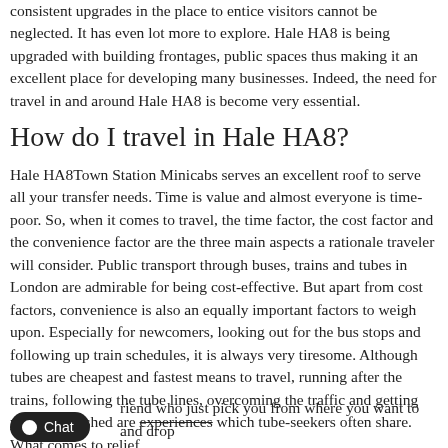consistent upgrades in the place to entice visitors cannot be neglected. It has even lot more to explore. Hale HA8 is being upgraded with building frontages, public spaces thus making it an excellent place for developing many businesses. Indeed, the need for travel in and around Hale HA8 is become very essential.
How do I travel in Hale HA8?
Hale HA8Town Station Minicabs serves an excellent roof to serve all your transfer needs. Time is value and almost everyone is time-poor. So, when it comes to travel, the time factor, the cost factor and the convenience factor are the three main aspects a rationale traveler will consider. Public transport through buses, trains and tubes in London are admirable for being cost-effective. But apart from cost factors, convenience is also an equally important factors to weigh upon. Especially for newcomers, looking out for the bus stops and following up train schedules, it is always very tiresome. Although tubes are cheapest and fastest means to travel, running after the trains, following the tube lines, overcoming the traffic and getting yourself crushed are experiences which tube-seekers often share. What comes to relief friend who just pick you from where you want to and drop